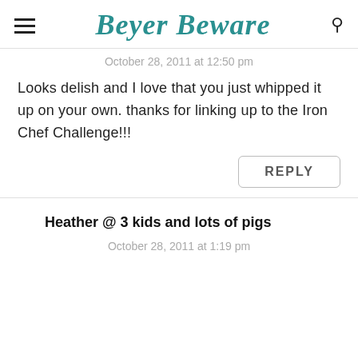Beyer Beware
October 28, 2011 at 12:50 pm
Looks delish and I love that you just whipped it up on your own. thanks for linking up to the Iron Chef Challenge!!!
REPLY
Heather @ 3 kids and lots of pigs
October 28, 2011 at 1:19 pm